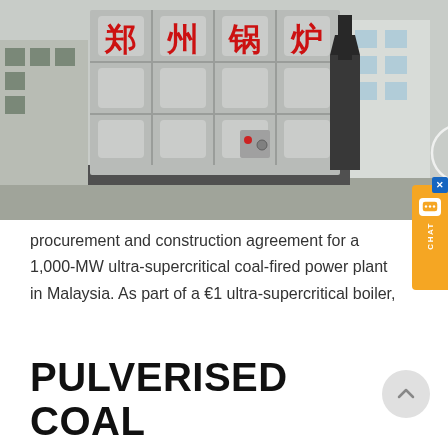[Figure (photo): Photo of a large industrial coal-fired boiler unit with Chinese characters '郑州锅炉' in red on the grey metal panels, and a watermark reading 'ZD | Boiler & Vessel INNOVATION SINCE 1958' with a logo.]
procurement and construction agreement for a 1,000-MW ultra-supercritical coal-fired power plant in Malaysia. As part of a €1 ultra-supercritical boiler,
PULVERISED COAL FIRED BOILER DESIGN